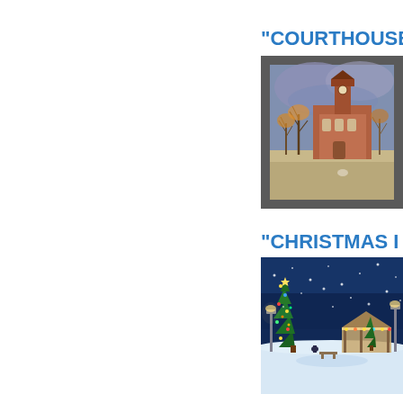“COURTHOUSE
[Figure (illustration): Watercolor painting of a historic courthouse building with a clock tower, surrounded by bare winter trees, with a dramatic stormy sky in the background. The painting is shown with a dark gray mat/frame border.]
“CHRISTMAS I
[Figure (illustration): Oil or acrylic painting of a snowy winter night scene featuring a lit Christmas tree in a town square or park, a gazebo or bandstand with lights, lamp posts, and snow-covered ground under a deep blue night sky.]